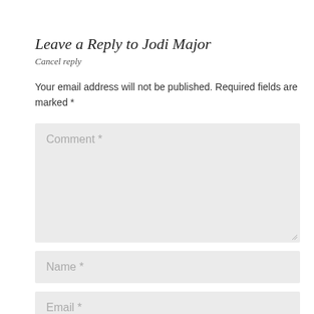Leave a Reply to Jodi Major
Cancel reply
Your email address will not be published. Required fields are marked *
[Figure (screenshot): Comment text area input field with placeholder text 'Comment *' and a resize handle in the bottom right corner]
[Figure (screenshot): Name input field with placeholder text 'Name *']
[Figure (screenshot): Email input field (partially visible) with placeholder text 'Email *']